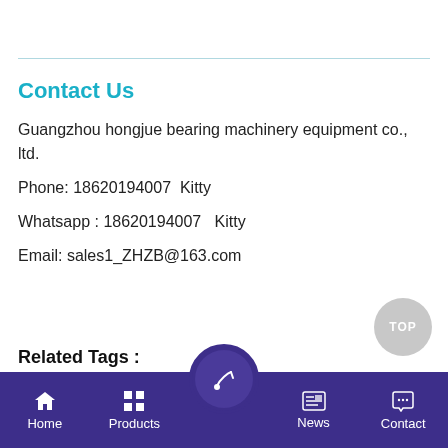Contact Us
Guangzhou hongjue bearing machinery equipment co., ltd.
Phone: 18620194007  Kitty
Whatsapp : 18620194007   Kitty
Email: sales1_ZHZB@163.com
Related Tags :
Home  Products  [center button]  News  Contact